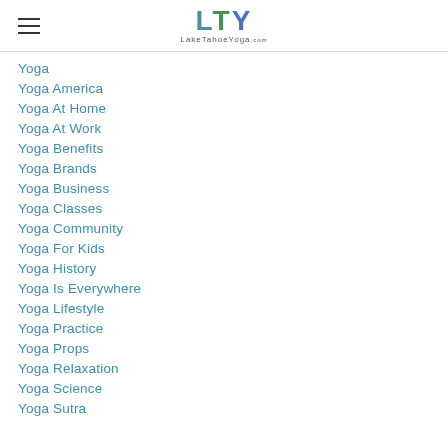LTY Lake Tahoe Yoga
Yoga
Yoga America
Yoga At Home
Yoga At Work
Yoga Benefits
Yoga Brands
Yoga Business
Yoga Classes
Yoga Community
Yoga For Kids
Yoga History
Yoga Is Everywhere
Yoga Lifestyle
Yoga Practice
Yoga Props
Yoga Relaxation
Yoga Science
Yoga Sutra